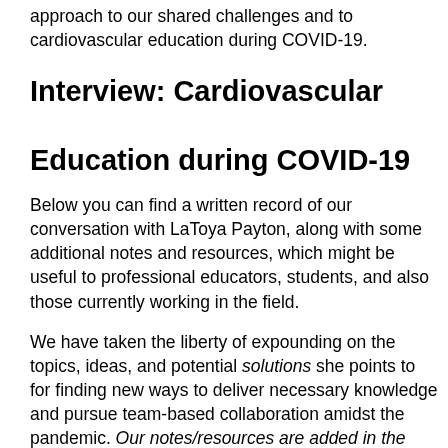approach to our shared challenges and to cardiovascular education during COVID-19.
Interview: Cardiovascular Education during COVID-19
Below you can find a written record of our conversation with LaToya Payton, along with some additional notes and resources, which might be useful to professional educators, students, and also those currently working in the field.
We have taken the liberty of expounding on the topics, ideas, and potential solutions she points to for finding new ways to deliver necessary knowledge and pursue team-based collaboration amidst the pandemic. Our notes/resources are added in the bullet